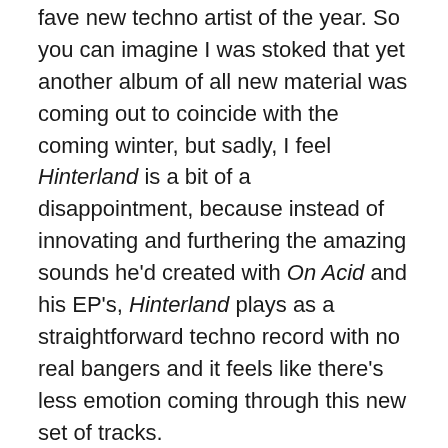fave new techno artist of the year. So you can imagine I was stoked that yet another album of all new material was coming out to coincide with the coming winter, but sadly, I feel Hinterland is a bit of a disappointment, because instead of innovating and furthering the amazing sounds he'd created with On Acid and his EP's, Hinterland plays as a straightforward techno record with no real bangers and it feels like there's less emotion coming through this new set of tracks.
Still, there's lots to love on Hinterland. Tracks like "Riant" and "Absondence" are highlights, reminiscent of Pawel and Lawrence on Dial Records, and overall the album is deep and textured and really dark. I've listened to it many times and it keeps getting better with every spin, and as the deep freeze begins its icy texture becomes that much more relevant. Check it.